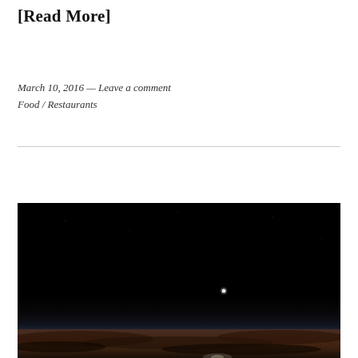[Read More]
March 10, 2016 — Leave a comment
Food / Restaurants
[Figure (photo): A dark panoramic photograph taken from high altitude showing the curvature of Earth. The upper portion is deep black space, the middle shows a faint glowing point (likely the eclipsed sun), and the lower portion shows Earth's atmosphere glowing orange-amber above a layer of clouds.]